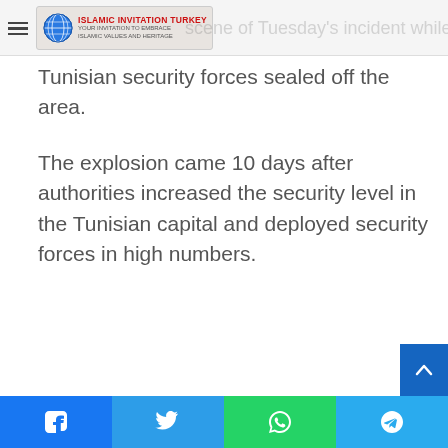Islamic Invitation Turkey [logo/header bar]
scene of Tuesday's incident while Tunisian security forces sealed off the area.
The explosion came 10 days after authorities increased the security level in the Tunisian capital and deployed security forces in high numbers.
Social share bar: Facebook, Twitter, WhatsApp, Telegram